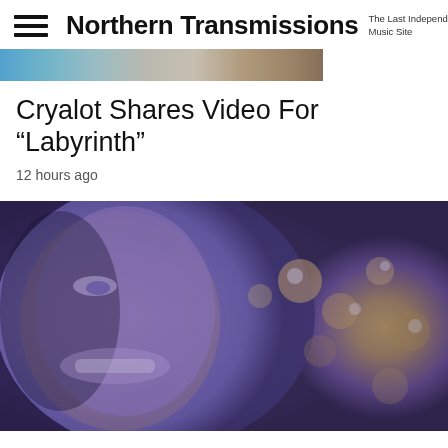Northern Transmissions — The Last Independent Music Site
[Figure (photo): Partial horizontal photo strip at top of page showing outdoor scene]
Cryalot Shares Video For “Labyrinth”
12 hours ago
[Figure (photo): Close-up photo of a smiling person with a purple/blue tint overlay, with blurred fairground lights in the background at night]